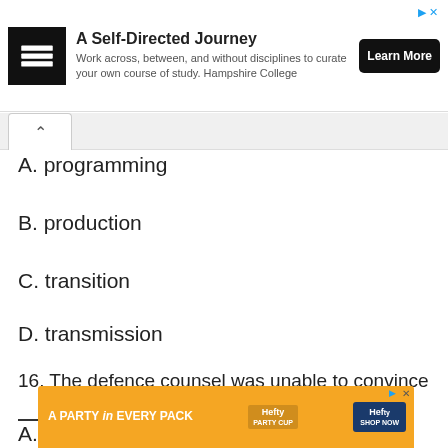[Figure (other): Advertisement banner: Hampshire College 'A Self-Directed Journey' with Learn More button]
A. programming
B. production
C. transition
D. transmission
16. The defence counsel was unable to convince _____ of John's innocence
A. pla
[Figure (other): Advertisement banner: Hefty 'A PARTY in EVERY PACK' with Shop Now button]